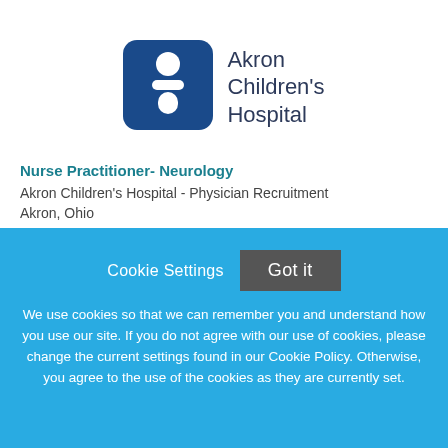[Figure (logo): Akron Children's Hospital logo — blue rounded square with white figure icon on left, and 'Akron Children's Hospital' text in dark navy on right]
Nurse Practitioner- Neurology
Akron Children's Hospital - Physician Recruitment
Akron, Ohio
Cookie Settings
Got it
We use cookies so that we can remember you and understand how you use our site. If you do not agree with our use of cookies, please change the current settings found in our Cookie Policy. Otherwise, you agree to the use of the cookies as they are currently set.